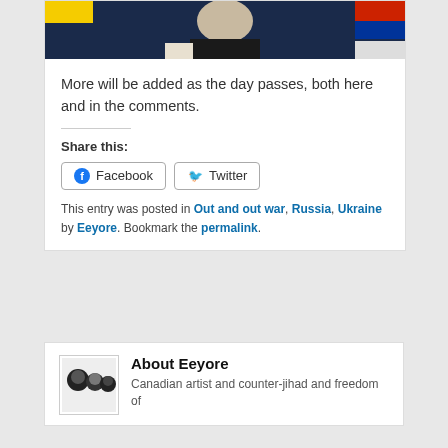[Figure (photo): Photo of a person in dark clothing with Ukrainian and Russian flags visible in the background]
More will be added as the day passes, both here and in the comments.
Share this:
Facebook  Twitter
This entry was posted in Out and out war, Russia, Ukraine by Eeyore. Bookmark the permalink.
About Eeyore
Canadian artist and counter-jihad and freedom of